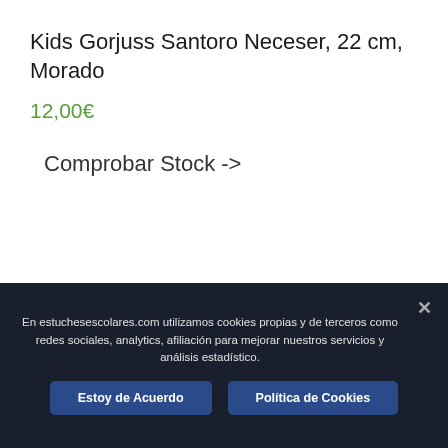Kids Gorjuss Santoro Neceser, 22 cm, Morado
12,00€
Comprobar Stock ->
En estuchesescolares.com utilizamos cookies propias y de terceros como redes sociales, analytics, afiliación para mejorar nuestros servicios y análisis estadístico.
Estoy de Acuerdo
Política de Cookies